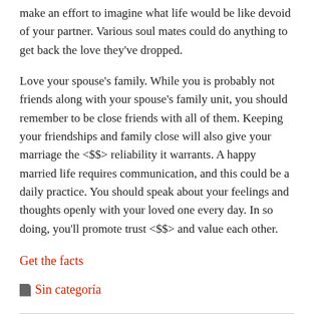make an effort to imagine what life would be like devoid of your partner. Various soul mates could do anything to get back the love they've dropped.
Love your spouse's family. While you is probably not friends along with your spouse's family unit, you should remember to be close friends with all of them. Keeping your friendships and family close will also give your marriage the <$$> reliability it warrants. A happy married life requires communication, and this could be a daily practice. You should speak about your feelings and thoughts openly with your loved one every day. In so doing, you'll promote trust <$$> and value each other.
Get the facts
Sin categoría